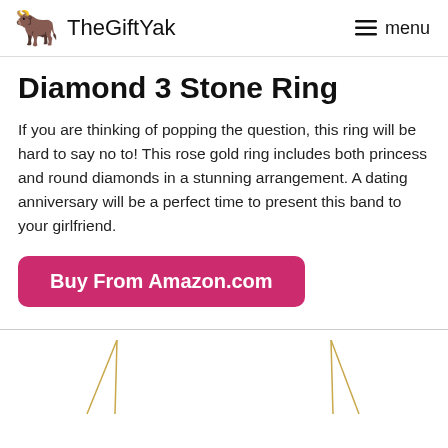TheGiftYak  menu
Diamond 3 Stone Ring
If you are thinking of popping the question, this ring will be hard to say no to! This rose gold ring includes both princess and round diamonds in a stunning arrangement. A dating anniversary will be a perfect time to present this band to your girlfriend.
Buy From Amazon.com
[Figure (photo): Two gold necklaces partially visible at the bottom of the page]